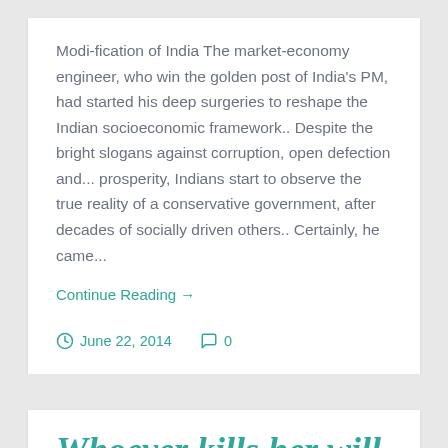Modi-fication of India The market-economy engineer, who win the golden post of India's PM, had started his deep surgeries to reshape the Indian socioeconomic framework.. Despite the bright slogans against corruption, open defection and... prosperity, Indians start to observe the true reality of a conservative government, after decades of socially driven others.. Certainly, he came...
Continue Reading →
June 22, 2014   0
Whoever kills her will be rewarded by God..!!